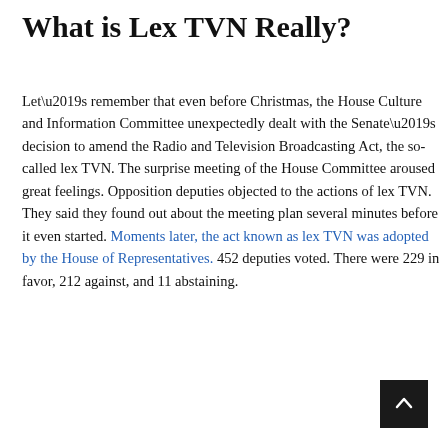What is Lex TVN Really?
Let’s remember that even before Christmas, the House Culture and Information Committee unexpectedly dealt with the Senate’s decision to amend the Radio and Television Broadcasting Act, the so-called lex TVN. The surprise meeting of the House Committee aroused great feelings. Opposition deputies objected to the actions of lex TVN. They said they found out about the meeting plan several minutes before it even started. Moments later, the act known as lex TVN was adopted by the House of Representatives. 452 deputies voted. There were 229 in favor, 212 against, and 11 abstaining.